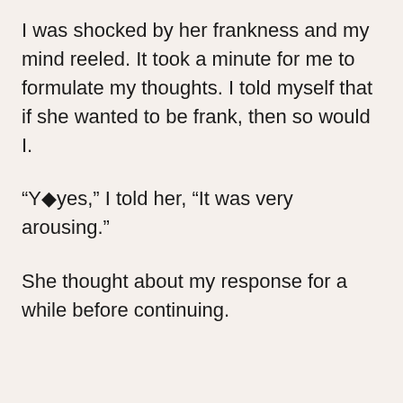I was shocked by her frankness and my mind reeled. It took a minute for me to formulate my thoughts. I told myself that if she wanted to be frank, then so would I.
“Y�yes,” I told her, “It was very arousing.”
She thought about my response for a while before continuing.